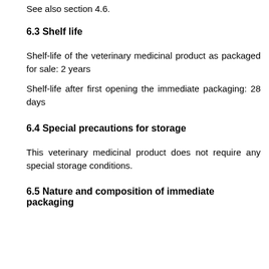See also section 4.6.
6.3 Shelf life
Shelf-life of the veterinary medicinal product as packaged for sale: 2 years
Shelf-life after first opening the immediate packaging: 28 days
6.4 Special precautions for storage
This veterinary medicinal product does not require any special storage conditions.
6.5 Nature and composition of immediate packaging